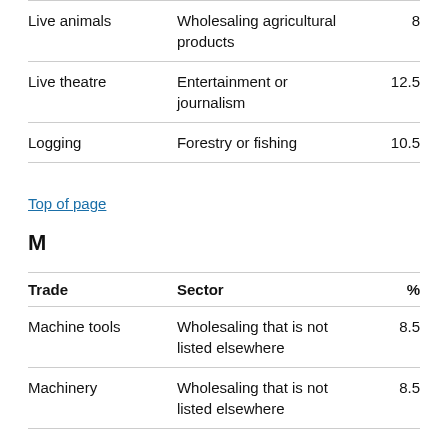| Trade | Sector | % |
| --- | --- | --- |
| Live animals | Wholesaling agricultural products | 8 |
| Live theatre | Entertainment or journalism | 12.5 |
| Logging | Forestry or fishing | 10.5 |
Top of page
M
| Trade | Sector | % |
| --- | --- | --- |
| Machine tools | Wholesaling that is not listed elsewhere | 8.5 |
| Machinery | Wholesaling that is not listed elsewhere | 8.5 |